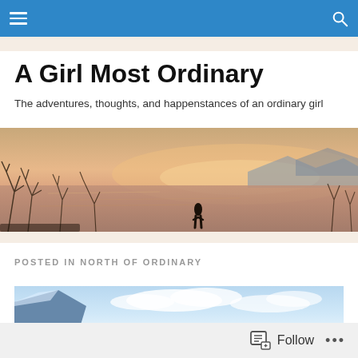A Girl Most Ordinary — navigation bar with hamburger menu and search icon
A Girl Most Ordinary
The adventures, thoughts, and happenstances of an ordinary girl
[Figure (photo): Panoramic sunset photo over a large lake or sea, silhouette of a person standing among bare winter branches, mountains visible in the distance under orange and pink sky]
POSTED IN NORTH OF ORDINARY
[Figure (photo): Partial view of a mountainous landscape with blue sky and clouds, lower portion of image cropped]
Follow •••